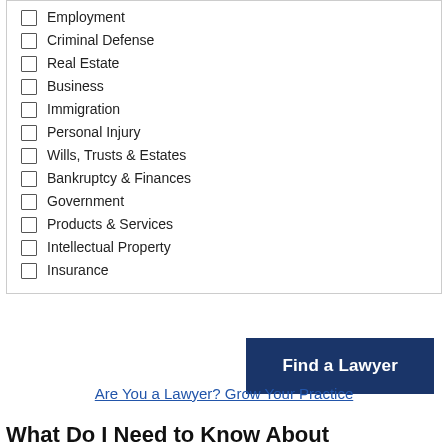Employment
Criminal Defense
Real Estate
Business
Immigration
Personal Injury
Wills, Trusts & Estates
Bankruptcy & Finances
Government
Products & Services
Intellectual Property
Insurance
Find a Lawyer
Are You a Lawyer? Grow Your Practice
What Do I Need to Know About